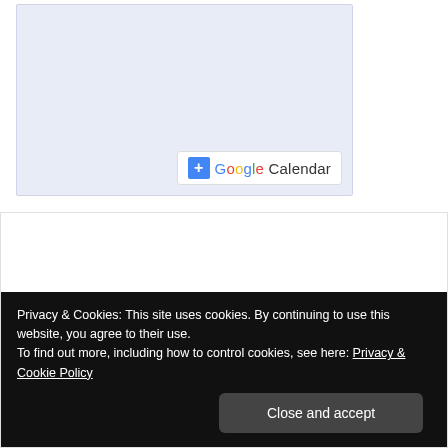[Figure (screenshot): Google Calendar embed widget showing a light blue calendar area with a '+ Google Calendar' button in the bottom right]
[Figure (screenshot): White content area above a black cookie consent banner]
Privacy & Cookies: This site uses cookies. By continuing to use this website, you agree to their use.
To find out more, including how to control cookies, see here: Privacy & Cookie Policy
Close and accept